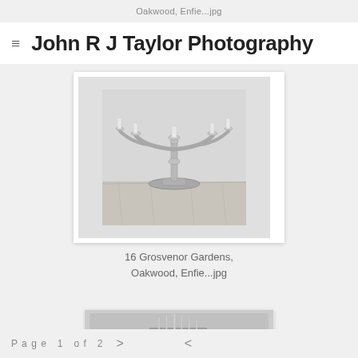Oakwood, Enfie...jpg
John R J Taylor Photography
[Figure (photo): Black and white photograph of a silver five-arm candelabra on a wooden surface]
16 Grosvenor Gardens, Oakwood, Enfie...jpg
[Figure (photo): Black and white photograph of a silver cutlery set in a stand holder on a surface]
Page 1 of 2  >  <